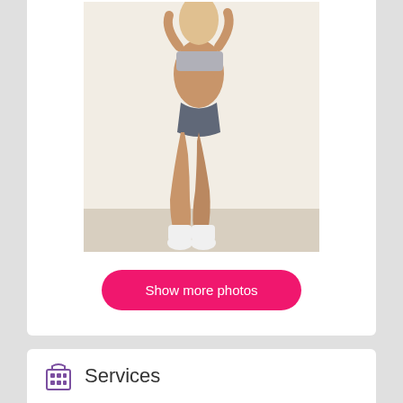[Figure (photo): A woman posing against a white wall, wearing a silver crop top, denim shorts, and white socks. She is standing sideways with one knee bent.]
Show more photos
Services